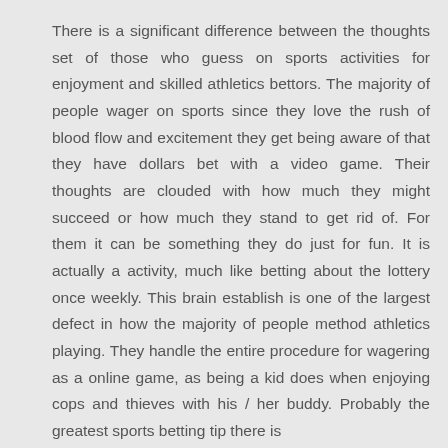There is a significant difference between the thoughts set of those who guess on sports activities for enjoyment and skilled athletics bettors. The majority of people wager on sports since they love the rush of blood flow and excitement they get being aware of that they have dollars bet with a video game. Their thoughts are clouded with how much they might succeed or how much they stand to get rid of. For them it can be something they do just for fun. It is actually a activity, much like betting about the lottery once weekly. This brain establish is one of the largest defect in how the majority of people method athletics playing. They handle the entire procedure for wagering as a online game, as being a kid does when enjoying cops and thieves with his / her buddy. Probably the greatest sports betting tip there is